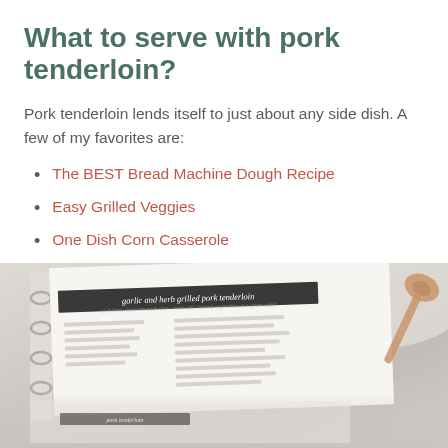What to serve with pork tenderloin?
Pork tenderloin lends itself to just about any side dish. A few of my favorites are:
The BEST Bread Machine Dough Recipe
Easy Grilled Veggies
One Dish Corn Casserole
Check out more Side Dishes here!
[Figure (photo): A recipe binder open to a page titled 'garlic and herb grilled pork tenderloin' with a wooden spoon visible to the right, photographed from above on a light background.]